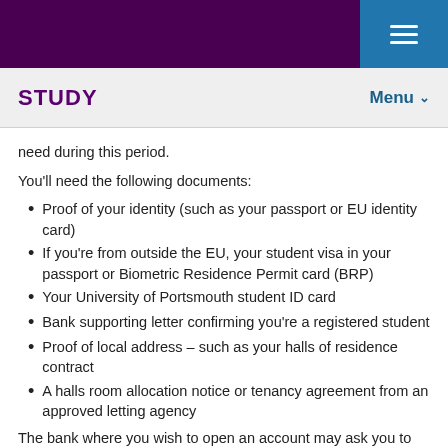STUDY   Menu
need during this period.
You'll need the following documents:
Proof of your identity (such as your passport or EU identity card)
If you're from outside the EU, your student visa in your passport or Biometric Residence Permit card (BRP)
Your University of Portsmouth student ID card
Bank supporting letter confirming you're a registered student
Proof of local address – such as your halls of residence contract
A halls room allocation notice or tenancy agreement from an approved letting agency
The bank where you wish to open an account may ask you to start the process online and then ask you to visit one of